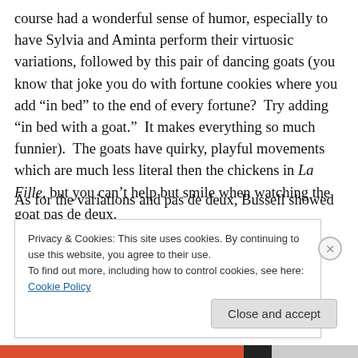course had a wonderful sense of humor, especially to have Sylvia and Aminta perform their virtuosic variations, followed by this pair of dancing goats (you know that joke you do with fortune cookies where you add “in bed” to the end of every fortune?  Try adding “in bed with a goat.”  It makes everything so much funnier).  The goats have quirky, playful movements which are much less literal then the chickens in La Fille, but you can’t help but smile when watching the goat pas de deux.
As for the variations and pas de deux, Bussell showed
Privacy & Cookies: This site uses cookies. By continuing to use this website, you agree to their use.
To find out more, including how to control cookies, see here: Cookie Policy
Close and accept